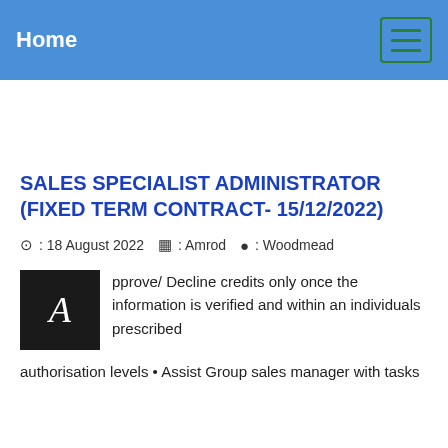Home
SALES SPECIALIST ADMINISTRATOR (FIXED TERM CONTRACT- 15/12/2022)
⊙ : 18 August 2022  🏢 : Amrod  📍 : Woodmead
Approve/ Decline credits only once the information is verified and within an individuals prescribed authorisation levels • Assist Group sales manager with tasks